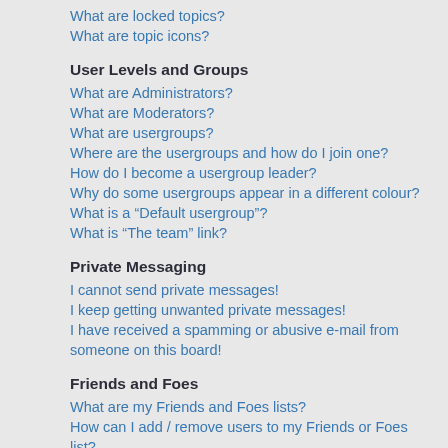What are locked topics?
What are topic icons?
User Levels and Groups
What are Administrators?
What are Moderators?
What are usergroups?
Where are the usergroups and how do I join one?
How do I become a usergroup leader?
Why do some usergroups appear in a different colour?
What is a “Default usergroup”?
What is “The team” link?
Private Messaging
I cannot send private messages!
I keep getting unwanted private messages!
I have received a spamming or abusive e-mail from someone on this board!
Friends and Foes
What are my Friends and Foes lists?
How can I add / remove users to my Friends or Foes list?
Searching the Forums
How can I search a forum or forums?
Why does my search return no results?
Why does my search return a blank page!?
How do I search for members?
How can I find my own posts and topics?
Topic Subscriptions and Bookmarks
What is the difference between bookmarking and subscribing?
How do I subscribe to specific forums or topics?